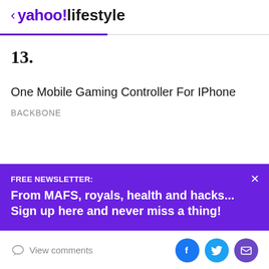< yahoo!lifestyle
13.
One Mobile Gaming Controller For IPhone
BACKBONE
FREE NEWSLETTER: From MAFS, royals, health and hacks... Sign up here and never miss a thing!
View comments